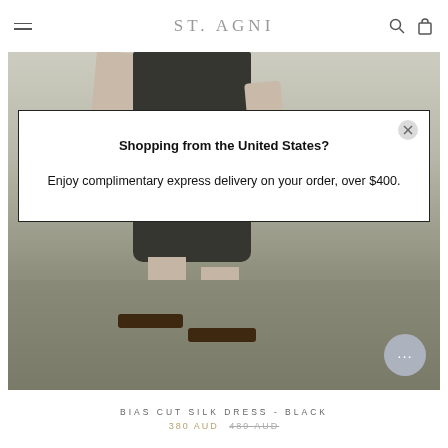ST. AGNI
[Figure (photo): E-commerce product page screenshot showing a woman wearing a black bias cut silk dress with sandals, viewed from torso down. A modal popup overlays the image asking about shopping from the United States with a complimentary delivery offer. Below the image is the product name and pricing.]
Shopping from the United States?
Enjoy complimentary express delivery on your order, over $400.
BIAS CUT SILK DRESS - BLACK
380 AUD  489 AUD